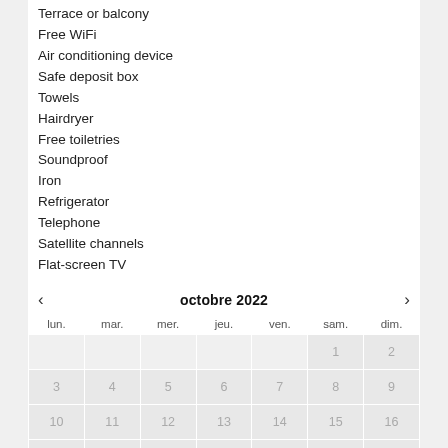Terrace or balcony
Free WiFi
Air conditioning device
Safe deposit box
Towels
Hairdryer
Free toiletries
Soundproof
Iron
Refrigerator
Telephone
Satellite channels
Flat-screen TV
| lun. | mar. | mer. | jeu. | ven. | sam. | dim. |
| --- | --- | --- | --- | --- | --- | --- |
|  |  |  |  |  | 1 | 2 |
| 3 | 4 | 5 | 6 | 7 | 8 | 9 |
| 10 | 11 | 12 | 13 | 14 | 15 | 16 |
| 17 | 18 | 19 | 20 | 21 | 22 | 23 |
| 24 | 25 | 26 | 27 | 28 | 29 | 30 |
| 31 |  |  |  |  |  |  |